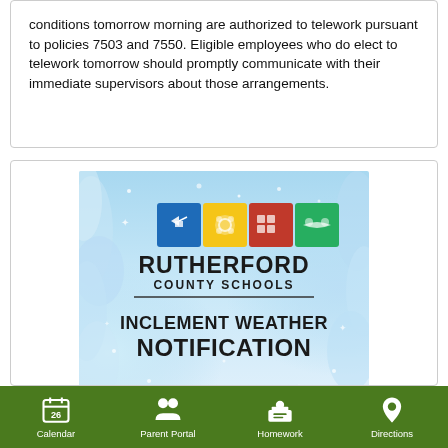conditions tomorrow morning are authorized to telework pursuant to policies 7503 and 7550. Eligible employees who do elect to telework tomorrow should promptly communicate with their immediate supervisors about those arrangements.
[Figure (illustration): Rutherford County Schools Inclement Weather Notification banner image with winter/frost background, colorful logo squares (blue/yellow/red/green), and bold text.]
Calendar | Parent Portal | Homework | Directions